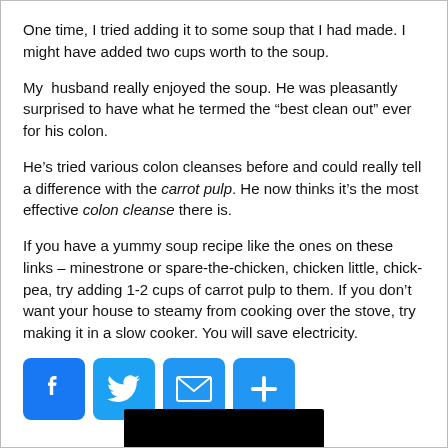One time, I tried adding it to some soup that I had made. I might have added two cups worth to the soup.
My  husband really enjoyed the soup. He was pleasantly surprised to have what he termed the “best clean out” ever for his colon.
He’s tried various colon cleanses before and could really tell a difference with the carrot pulp. He now thinks it’s the most effective colon cleanse there is.
If you have a yummy soup recipe like the ones on these links – minestrone or spare-the-chicken, chicken little, chick-pea, try adding 1-2 cups of carrot pulp to them. If you don’t want your house to steamy from cooking over the stove, try making it in a slow cooker. You will save electricity.
[Figure (other): Social sharing buttons: Facebook, Twitter, Email, Plus/Share]
[Figure (other): Black bar at bottom of page, partially visible]